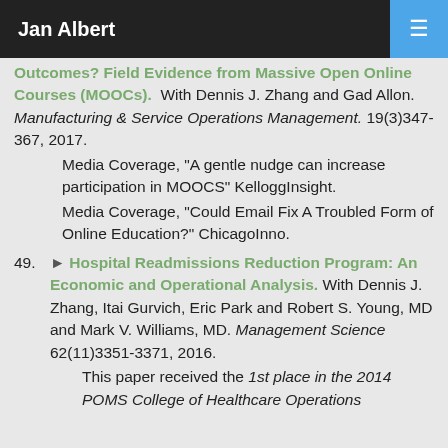Jan Albert
Outcomes? Field Evidence from Massive Open Online Courses (MOOCs). With Dennis J. Zhang and Gad Allon. Manufacturing & Service Operations Management. 19(3)347-367, 2017.
        Media Coverage, "A gentle nudge can increase participation in MOOCS" KelloggInsight.
        Media Coverage, "Could Email Fix A Troubled Form of Online Education?" ChicagoInno.
49. Hospital Readmissions Reduction Program: An Economic and Operational Analysis. With Dennis J. Zhang, Itai Gurvich, Eric Park and Robert S. Young, MD and Mark V. Williams, MD. Management Science 62(11)3351-3371, 2016.
        This paper received the 1st place in the 2014 POMS College of Healthcare Operations